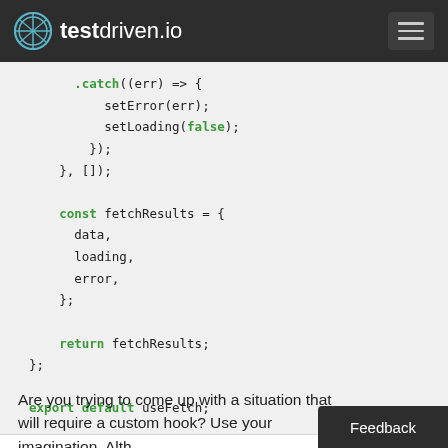testdriven.io
[Figure (screenshot): Code block showing JavaScript: .catch, setError, setLoading(false), }); }, []); const fetchResults = { data, loading, error, }; return fetchResults; }; export default useFetch;]
Are you trying to come up with a situation that will require a custom hook? Use your imagination. Alth